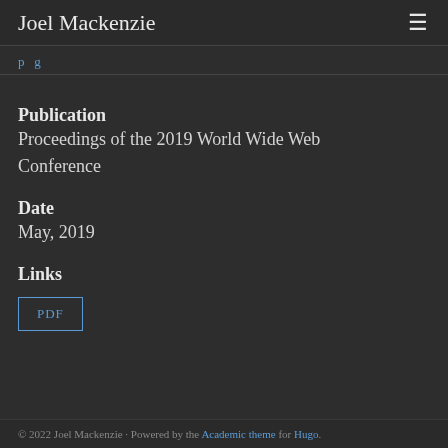Joel Mackenzie
Publication
Proceedings of the 2019 World Wide Web Conference
Date
May, 2019
Links
PDF
© 2022 Joel Mackenzie · Powered by the Academic theme for Hugo.